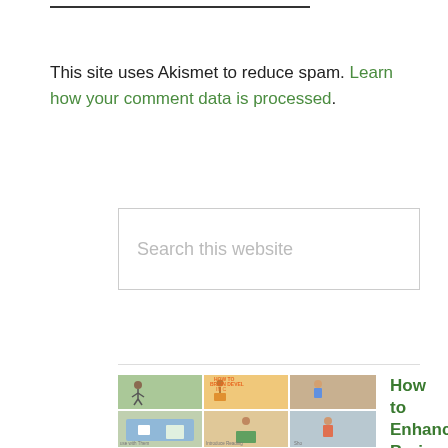This site uses Akismet to reduce spam. Learn how your comment data is processed.
[Figure (screenshot): Search box with placeholder text 'Search this website']
[Figure (illustration): Thumbnail image grid showing children's educational activities, for article 'How to Enhance Brain Development in Children']
How to Enhance Brain Development in Children